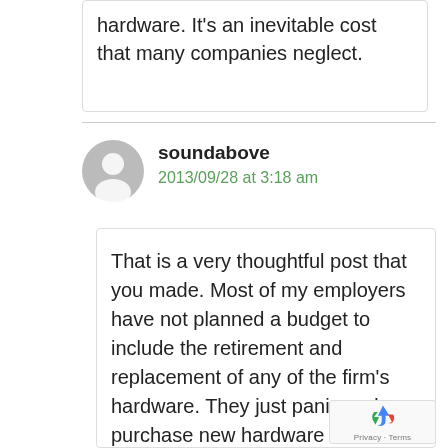hardware. It's an inevitable cost that many companies neglect.
soundabove
2013/09/28 at 3:18 am
That is a very thoughtful post that you made. Most of my employers have not planned a budget to include the retirement and replacement of any of the firm's hardware. They just panic and purchase new hardware when the old stuff breaks which really crimps the budget for that month. I can't say that I've worked for a company that hasn't